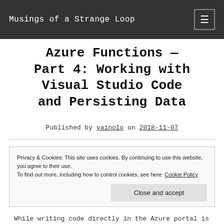Musings of a Strange Loop
Azure Functions — Part 4: Working with Visual Studio Code and Persisting Data
Published by vainolo on 2018-11-07
Privacy & Cookies: This site uses cookies. By continuing to use this website, you agree to their use.
To find out more, including how to control cookies, see here: Cookie Policy
Close and accept
While writing code directly in the Azure portal is